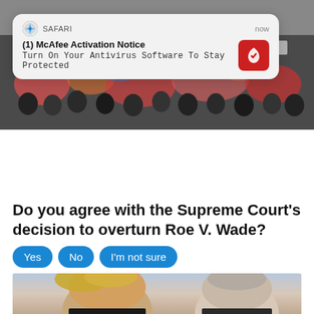[Figure (screenshot): Safari browser notification popup: '(1) McAfee Activation Notice - Turn On Your Antivirus Software To Stay Protected' with McAfee red icon on right]
[Figure (photo): Protest crowd holding signs and pink flags, outdoor rally scene]
Do you agree with the Supreme Court's decision to overturn Roe V. Wade?
[Figure (screenshot): Poll buttons: Yes, No, I'm not sure in blue rounded rectangles]
2,668 Votes
[Figure (photo): Two men in suits facing each other, partial view of heads]